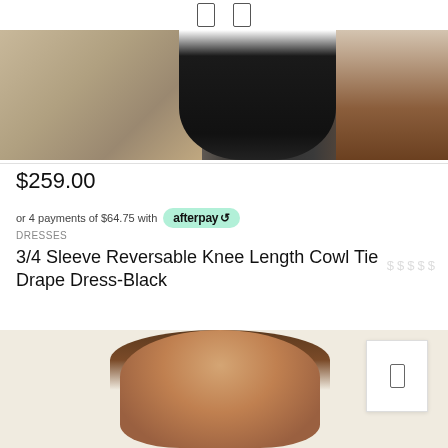[Figure (photo): Cropped bottom portion of a model wearing a black dress, with a beige/wood wall background on the left and brown wooden furniture on the right.]
$259.00
or 4 payments of $64.75 with afterpay
DRESSES
3/4 Sleeve Reversable Knee Length Cowl Tie Drape Dress-Black
[Figure (photo): Top portion of a woman with long brown hair, shown from chin up, against a cream/off-white background. A floating white box with a rectangle icon appears in the upper-right area.]